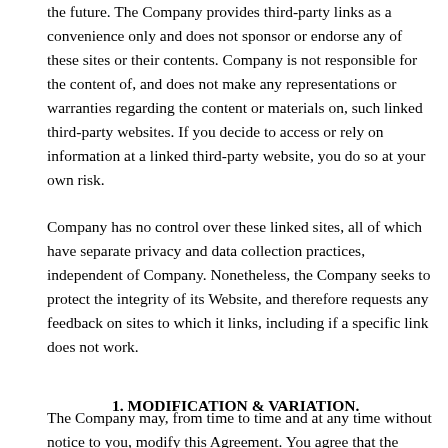the future. The Company provides third-party links as a convenience only and does not sponsor or endorse any of these sites or their contents. Company is not responsible for the content of, and does not make any representations or warranties regarding the content or materials on, such linked third-party websites. If you decide to access or rely on information at a linked third-party website, you do so at your own risk.
Company has no control over these linked sites, all of which have separate privacy and data collection practices, independent of Company. Nonetheless, the Company seeks to protect the integrity of its Website, and therefore requests any feedback on sites to which it links, including if a specific link does not work.
1. MODIFICATION & VARIATION.
The Company may, from time to time and at any time without notice to you, modify this Agreement. You agree that the Company has the right to modify this Agreement or revise anything contained herein. You further agree that all modifications to this Agreement are in full